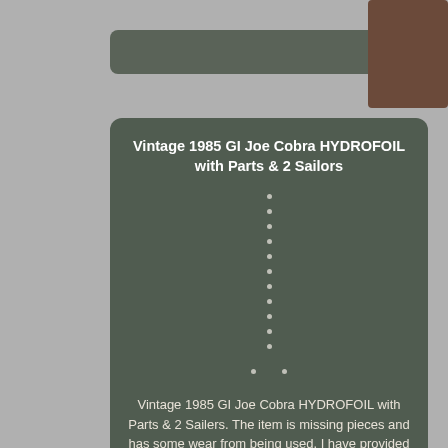Vintage 1985 GI Joe Cobra HYDROFOIL with Parts & 2 Sailors
Vintage 1985 GI Joe Cobra HYDROFOIL with Parts & 2 Sailers. The item is missing pieces and has some wear from being used. I have provided pictures for you to determine the condition of the item.